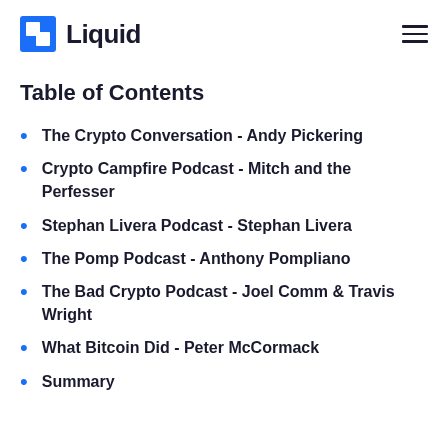Liquid
Table of Contents
The Crypto Conversation - Andy Pickering
Crypto Campfire Podcast - Mitch and the Perfesser
Stephan Livera Podcast - Stephan Livera
The Pomp Podcast - Anthony Pompliano
The Bad Crypto Podcast - Joel Comm & Travis Wright
What Bitcoin Did - Peter McCormack
Summary